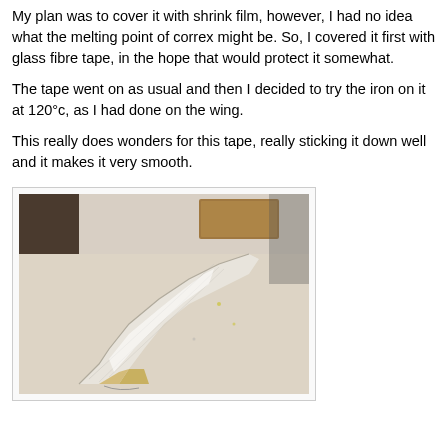My plan was to cover it with shrink film, however, I had no idea what the melting point of correx might be. So, I covered it first with glass fibre tape, in the hope that would protect it somewhat.
The tape went on as usual and then I decided to try the iron on it at 120°c, as I had done on the wing.
This really does wonders for this tape, really sticking it down well and it makes it very smooth.
[Figure (photo): A photo of a model aircraft wing or fuselage piece covered with white glass fibre tape, lying on a white work surface. A wooden block or small box is visible at the top background. The piece appears triangular/arrow-shaped, light coloured with visible tape texture and slight sheen from ironing.]